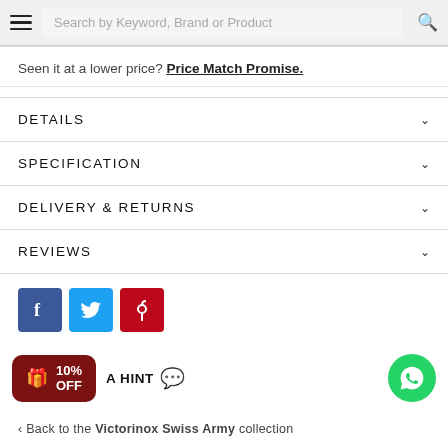Search by Keyword, Brand or Product
Seen it at a lower price? Price Match Promise.
DETAILS
SPECIFICATION
DELIVERY & RETURNS
REVIEWS
[Figure (other): Social share icons: Facebook, Twitter, Pinterest]
10% OFF  A HINT
< Back to the Victorinox Swiss Army collection